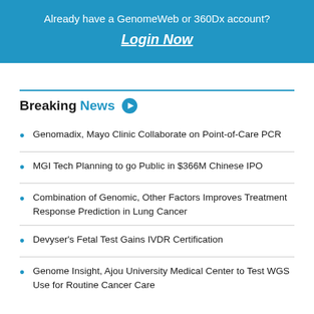Already have a GenomeWeb or 360Dx account?
Login Now
Breaking News
Genomadix, Mayo Clinic Collaborate on Point-of-Care PCR
MGI Tech Planning to go Public in $366M Chinese IPO
Combination of Genomic, Other Factors Improves Treatment Response Prediction in Lung Cancer
Devyser's Fetal Test Gains IVDR Certification
Genome Insight, Ajou University Medical Center to Test WGS Use for Routine Cancer Care